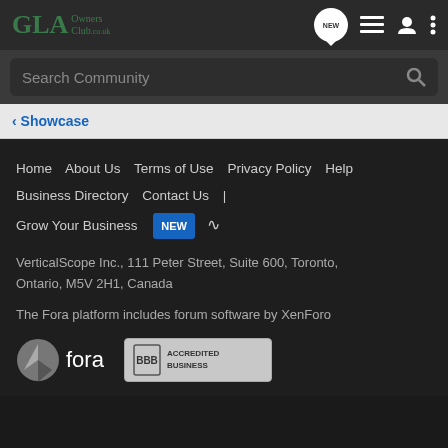GLA Owners Club.co.uk
Search Community
‹ Showcase
Home  About Us  Terms of Use  Privacy Policy  Help  Business Directory  Contact Us  |  Grow Your Business  NEW  RSS
VerticalScope Inc., 111 Peter Street, Suite 600, Toronto, Ontario, M5V 2H1, Canada
The Fora platform includes forum software by XenForo
[Figure (logo): Fora platform logo with stylized icon and text 'fora']
[Figure (logo): BBB Accredited Business badge]